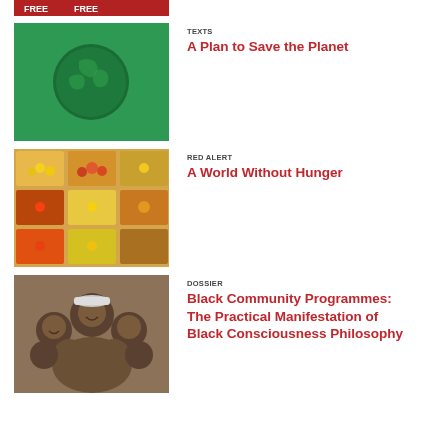[Figure (photo): Partial view of a red banner/sign at top of page]
[Figure (photo): Green background with a dark globe/earth illustration]
TEXTS
A Plan to Save the Planet
[Figure (photo): Overhead view of colorful market produce in yellow bins]
RED ALERT
A World Without Hunger
[Figure (photo): Black and white photo of a group of people smiling together]
DOSSIER
Black Community Programmes: The Practical Manifestation of Black Consciousness Philosophy